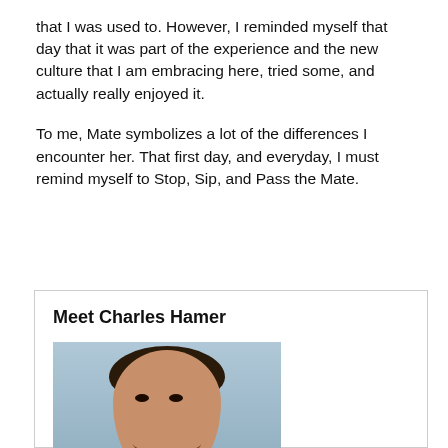that I was used to. However, I reminded myself that day that it was part of the experience and the new culture that I am embracing here, tried some, and actually really enjoyed it.
To me, Mate symbolizes a lot of the differences I encounter her. That first day, and everyday, I must remind myself to Stop, Sip, and Pass the Mate.
Meet Charles Hamer
[Figure (photo): Headshot photo of Charles Hamer, a young man smiling, with dark hair, against a blue background]